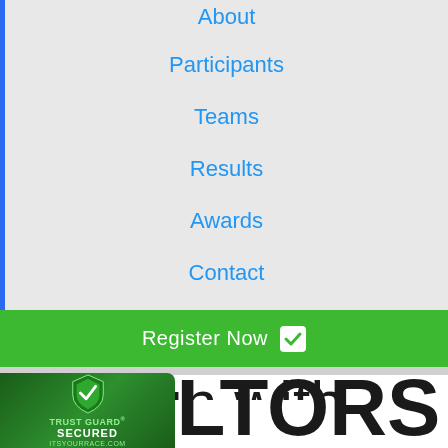About
Participants
Teams
Results
Awards
Contact
Register Now ✓
Run with REALTORS
[Figure (logo): Trust Guard Secured badge with shield icon and itsyourrace.com URL]